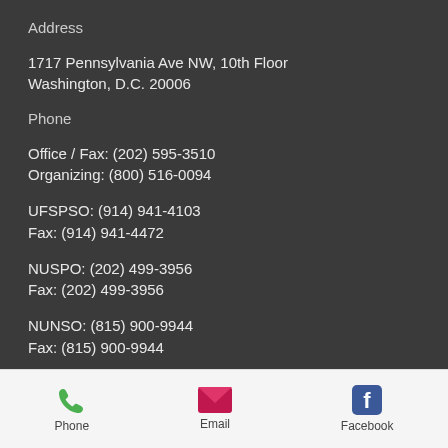Address
1717 Pennsylvania Ave NW, 10th Floor
Washington, D.C. 20006
Phone
Office / Fax: (202) 595-3510
Organizing: (800) 516-0094
UFSPSO: (914) 941-4103
Fax: (914) 941-4472
NUSPO: (202) 499-3956
Fax: (202) 499-3956
NUNSO: (815) 900-9944
Fax: (815) 900-9944
PSONU: (877) - 60-PSONU
FAX:  (877) -607-7668
[Figure (infographic): Bottom navigation bar with phone, email, and Facebook icons and labels]